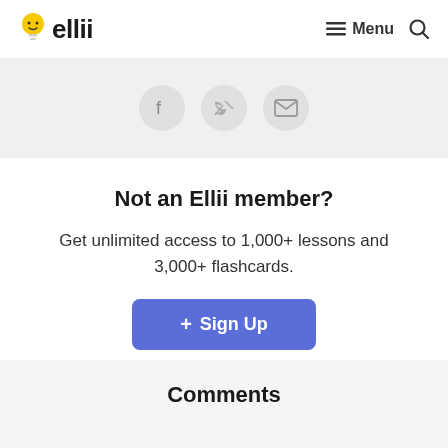ellii — Menu (search icon)
[Figure (other): Social share icons: Facebook, Twitter, Email in light grey circles on a grey background bar]
Not an Ellii member?
Get unlimited access to 1,000+ lessons and 3,000+ flashcards.
+ Sign Up (button)
Comments